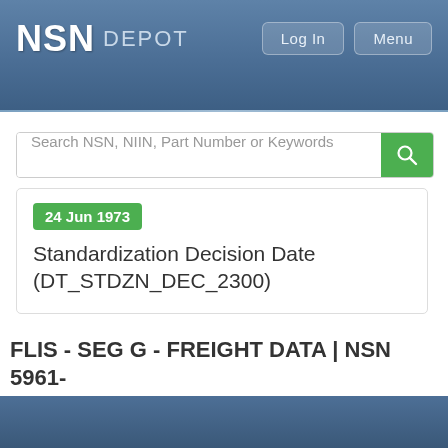NSN DEPOT | Log In | Menu
Search NSN, NIIN, Part Number or Keywords
24 Jun 1973
Standardization Decision Date (DT_STDZN_DEC_2300)
FLIS - SEG G - FREIGHT DATA | NSN 5961-00-051-7975
Submit RFQ